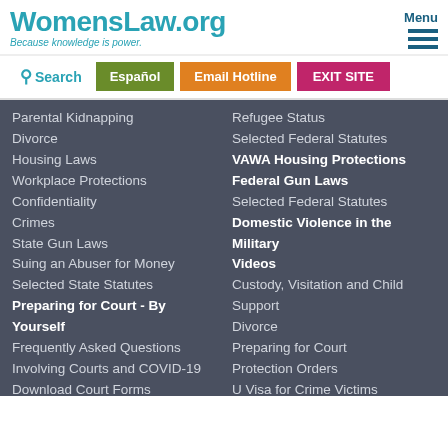WomensLaw.org — Because knowledge is power.
Parental Kidnapping
Divorce
Housing Laws
Workplace Protections
Confidentiality
Crimes
State Gun Laws
Suing an Abuser for Money
Selected State Statutes
Preparing for Court - By Yourself
Frequently Asked Questions Involving Courts and COVID-19
Download Court Forms
Court System Basics
Starting the Court Case
Before the Trial
Refugee Status
Selected Federal Statutes
VAWA Housing Protections
Federal Gun Laws
Selected Federal Statutes
Domestic Violence in the Military
Videos
Custody, Visitation and Child Support
Divorce
Preparing for Court
Protection Orders
U Visa for Crime Victims